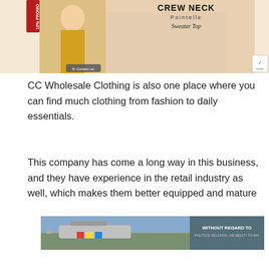[Figure (photo): Promotional banner for CC Wholesale Clothing featuring women in crew neck pointelle sweater tops in various colors. Includes a '10% Promo' label on the left side, 'Contact us' button at bottom left, and a fashion checkmark badge at bottom right.]
CC Wholesale Clothing is also one place where you can find much clothing from fashion to daily essentials.
This company has come a long way in this business, and they have experience in the retail industry as well, which makes them better equipped and mature
[Figure (photo): Advertisement banner showing an airplane being loaded with cargo, with text overlay reading 'WITHOUT REGARD TO POLITICS, RELIGION, OR ABILITY TO PAY']